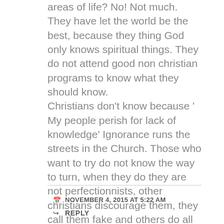areas of life? No! Not much. They have let the world be the best, because they thing God only knows spiritual things. They do not attend good non christian programs to know what they should know. Christians don't know because ' My people perish for lack of knowledge' Ignorance runs the streets in the Church. Those who want to try do not know the way to turn, when they do they are not perfectionnists, other christians discourage them, they call them fake and others do all they can to 'Expose' them. ( It's not only about literature) In a nutshell THE BODY DOES NOT FUNCTION WELL.
NOVEMBER 4, 2015 AT 5:22 AM
REPLY